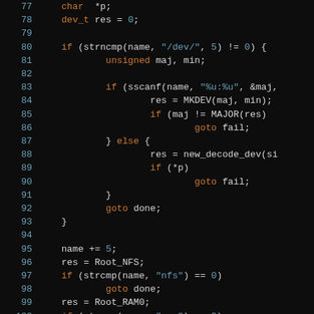[Figure (screenshot): Syntax-highlighted C source code listing lines 77–107, showing a function that decodes a device name string. Dark background with colored tokens: orange for keywords (if, for, goto, unsigned, else), green for string literals, teal for line numbers, white/grey for identifiers and punctuation.]